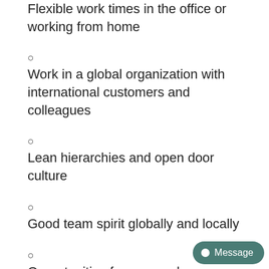Flexible work times in the office or working from home
Work in a global organization with international customers and colleagues
Lean hierarchies and open door culture
Good team spirit globally and locally
Opportunities for personal development and attracting...